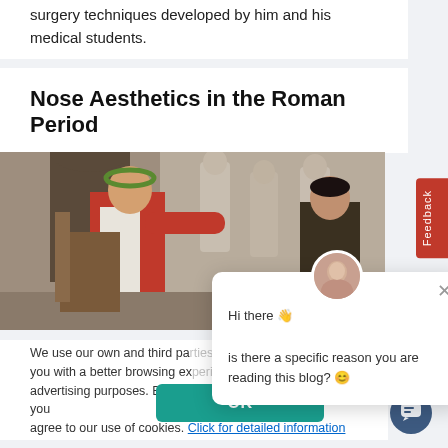surgery techniques developed by him and his medical students.
Nose Aesthetics in the Roman Period
[Figure (photo): Painting of a Roman figure in red robes with laurel wreath, pointing, set against a classical interior with marble sculptures in background. Another figure stands to the right.]
We use our own and third pa... you with a better browsing ex... advertising purposes. By continuing to browse our website, you agree to our use of cookies. Click for detailed information
OK